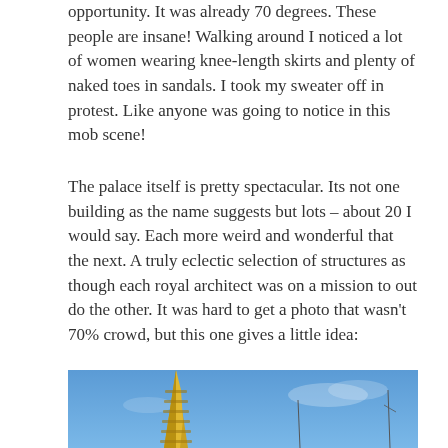opportunity.  It was already 70 degrees.  These people are insane!  Walking around I noticed a lot of women wearing knee-length skirts and plenty of naked toes in sandals.  I took my sweater off in protest.  Like anyone was going to notice in this mob scene!
The palace itself is pretty spectacular.  Its not one building as the name suggests but lots – about 20 I would say.  Each more weird and wonderful that the next.  A truly eclectic selection of structures as though each royal architect was on a mission to out do the other.  It was hard to get a photo that wasn't 70% crowd, but this one gives a little idea:
[Figure (photo): Photo of a golden spire/pagoda against a blue sky, showing the top portion of what appears to be a Thai temple or palace structure.]